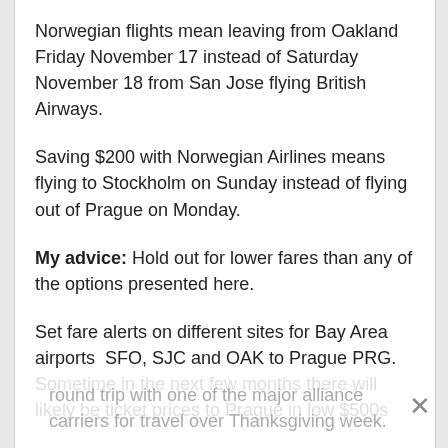Norwegian flights mean leaving from Oakland Friday November 17 instead of Saturday November 18 from San Jose flying British Airways.
Saving $200 with Norwegian Airlines means flying to Stockholm on Sunday instead of flying out of Prague on Monday.
My advice: Hold out for lower fares than any of the options presented here.
Set fare alerts on different sites for Bay Area airports  SFO, SJC and OAK to Prague PRG. Sometime in the next few months there will likely be ticket prices to Prague in low $500s round trip with one of the major alliance carriers for travel over Thanksgiving week.